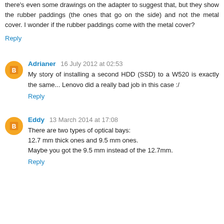there's even some drawings on the adapter to suggest that, but they show the rubber paddings (the ones that go on the side) and not the metal cover. I wonder if the rubber paddings come with the metal cover?
Reply
Adrianer  16 July 2012 at 02:53
My story of installing a second HDD (SSD) to a W520 is exactly the same... Lenovo did a really bad job in this case :/
Reply
Eddy  13 March 2014 at 17:08
There are two types of optical bays:
12.7 mm thick ones and 9.5 mm ones.
Maybe you got the 9.5 mm instead of the 12.7mm.
Reply